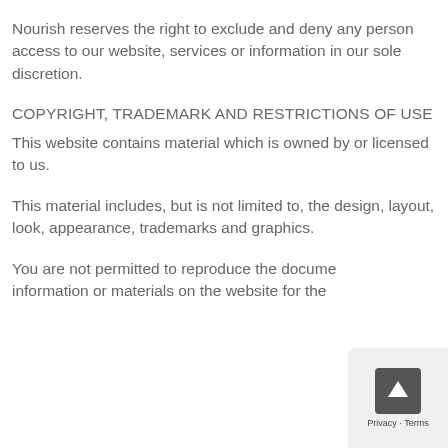Nourish reserves the right to exclude and deny any person access to our website, services or information in our sole discretion.
COPYRIGHT, TRADEMARK AND RESTRICTIONS OF USE
This website contains material which is owned by or licensed to us.
This material includes, but is not limited to, the design, layout, look, appearance, trademarks and graphics.
You are not permitted to reproduce the documents, information or materials on the website for the